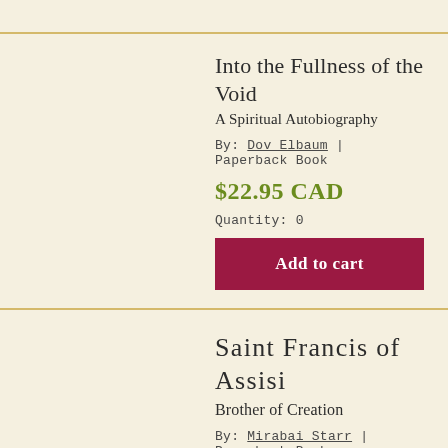Into the Fullness of the Void
A Spiritual Autobiography
By: Dov Elbaum | Paperback Book
$22.95 CAD
Quantity: 0
Add to cart
Saint Francis of Assisi
Brother of Creation
By: Mirabai Starr | Paperback Book